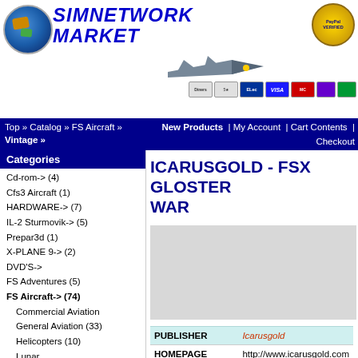SIMNETWORK MARKET
Top » Catalog » FS Aircraft » Vintage »  |  New Products | My Account | Cart Contents | Checkout
ICARUSGOLD - FSX GLOSTER WAR
| Field | Value |
| --- | --- |
| PUBLISHER | Icarusgold |
| HOMEPAGE | http://www.icarusgold.com |
| DELIVERY | Download full version after purchase - check myaccount - view order or support link and submit a ticket |
| DOWNLOAD FILE SIZE | 155 MB (FSX- fsx sp1- fsx sp2... |
| INSTALLATION | Execute installer |
Cd-rom-> (4)
Cfs3 Aircraft (1)
HARDWARE-> (7)
IL-2 Sturmovik-> (5)
Prepar3d (1)
X-PLANE 9-> (2)
DVD'S->
FS Adventures (5)
FS Aircraft-> (74)
Commercial Aviation
General Aviation (33)
Helicopters (10)
Lunar
Military (5)
Ultralights
Vintage (26)
FS Gauges
FS Navigation
FS Sceneries (52)
FS Textures (9)
FS Utilities-> (13)
FSX Missions (8)
FSX Ships
Combat Simulator 2
Manufacturers
Aero Files
Alan Constable